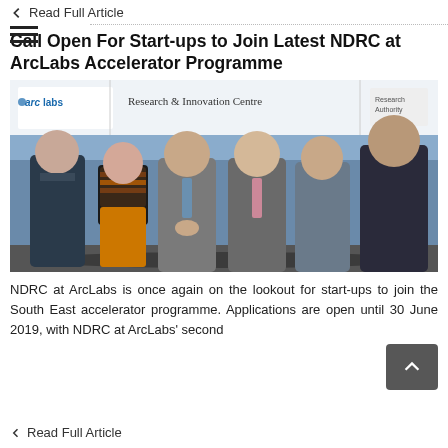Read Full Article
Call Open For Start-ups to Join Latest NDRC at ArcLabs Accelerator Programme
[Figure (photo): Six people posing in front of ArcLabs Research & Innovation Centre sign. Three men in suits, one woman in striped top and orange trousers, one man in grey suit, one tall man on far right in dark suit.]
NDRC at ArcLabs is once again on the lookout for start-ups to join the South East accelerator programme. Applications are open until 30 June 2019, with NDRC at ArcLabs' second
Read Full Article